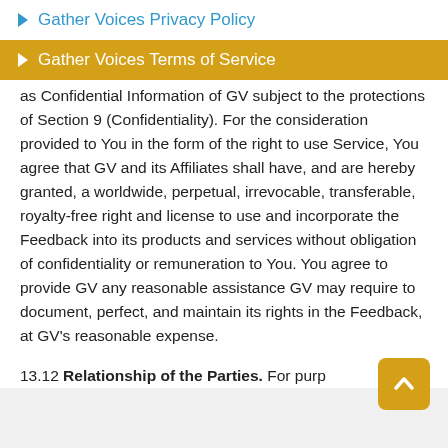Gather Voices Privacy Policy
Gather Voices Terms of Service
as Confidential Information of GV subject to the protections of Section 9 (Confidentiality). For the consideration provided to You in the form of the right to use Service, You agree that GV and its Affiliates shall have, and are hereby granted, a worldwide, perpetual, irrevocable, transferable, royalty-free right and license to use and incorporate the Feedback into its products and services without obligation of confidentiality or remuneration to You. You agree to provide GV any reasonable assistance GV may require to document, perfect, and maintain its rights in the Feedback, at GV's reasonable expense.
13.12 Relationship of the Parties. For purp...